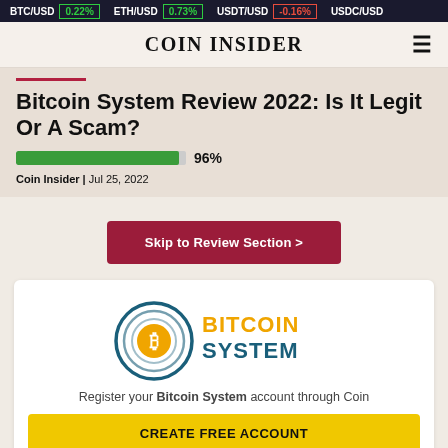BTC/USD 0.22% | ETH/USD 0.73% | USDT/USD -0.16% | USDC/USD
COIN INSIDER
Bitcoin System Review 2022: Is It Legit Or A Scam?
[Figure (infographic): Rating progress bar showing 96%]
Coin Insider | Jul 25, 2022
Skip to Review Section >
[Figure (logo): Bitcoin System logo with orange Bitcoin symbol and teal circular rings, with BITCOIN SYSTEM in orange and teal text]
Register your Bitcoin System account through Coin
CREATE FREE ACCOUNT